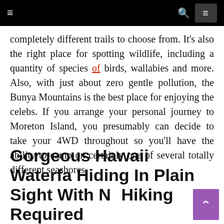≡   🔍  ≡
completely different trails to choose from. It's also the right place for spotting wildlife, including a quantity of species of birds, wallabies and more. Also, with just about zero gentle pollution, the Bunya Mountains is the best place for enjoying the celebs. If you arrange your personal journey to Moreton Island, you presumably can decide to take your 4WD throughout so you'll have the ability to camp on certainly one of several totally different seashores.
Gorgeous Hawaii Waterfa Hiding In Plain Sight With No Hiking Required